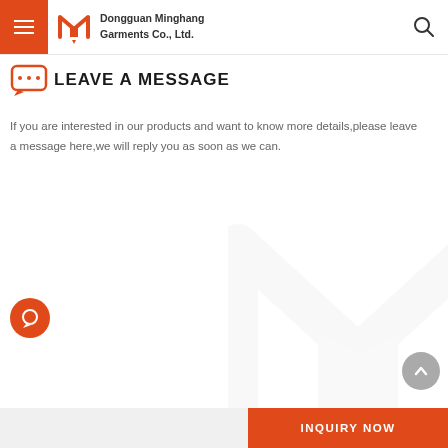Dongguan Minghang Garments Co., Ltd.
LEAVE A MESSAGE
If you are interested in our products and want to know more details,please leave a message here,we will reply you as soon as we can.
[Figure (logo): Orange circular chat/message icon button on left side]
[Figure (logo): Gray circular back-to-top arrow button on right side]
[Figure (logo): Large faded watermark of the Minghang M logo in background]
INQUIRY NOW